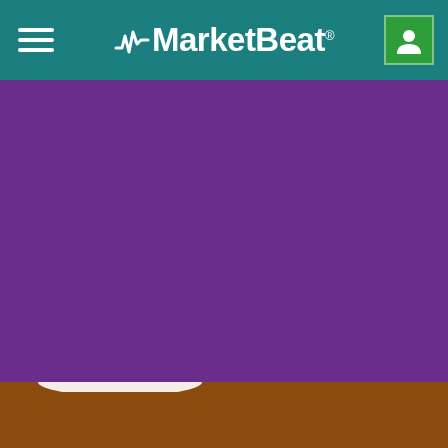MarketBeat
Market Data and Calendars
Looking for new stock ideas? Want to see which stocks are moving? View our full suite of financial calendars and market data tables, all for free.
VIEW MARKET DATA  >
[Figure (illustration): White open book icon on brown/orange background]
Investing Education and